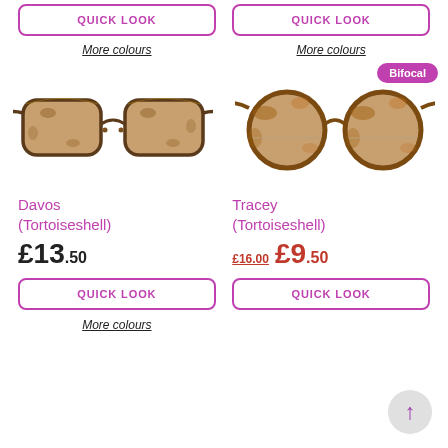QUICK LOOK
QUICK LOOK
More colours
More colours
[Figure (photo): Davos Tortoiseshell sunglasses - rectangular frame with amber/brown lenses]
[Figure (photo): Tracey Tortoiseshell sunglasses - round frame with amber/brown lenses, Bifocal badge]
Bifocal
Davos (Tortoiseshell)
Tracey (Tortoiseshell)
£13.50
£16.00  £9.50
QUICK LOOK
QUICK LOOK
More colours